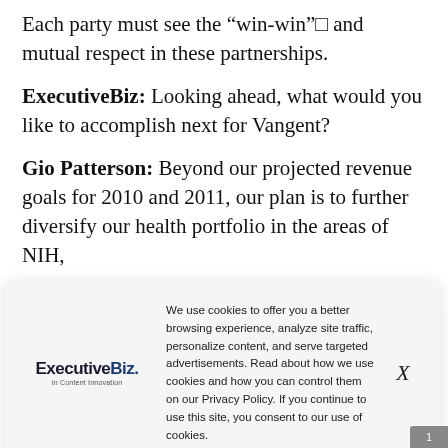Each party must see the “win-win”□ and mutual respect in these partnerships.
ExecutiveBiz: Looking ahead, what would you like to accomplish next for Vangent?
Gio Patterson: Beyond our projected revenue goals for 2010 and 2011, our plan is to further diversify our health portfolio in the areas of NIH,
[Figure (other): Cookie consent banner with ExecutiveBiz logo on the left, cookie policy text in center, and an X close button on the right. The banner reads: We use cookies to offer you a better browsing experience, analyze site traffic, personalize content, and serve targeted advertisements. Read about how we use cookies and how you can control them on our Privacy Policy. If you continue to use this site, you consent to our use of cookies.]